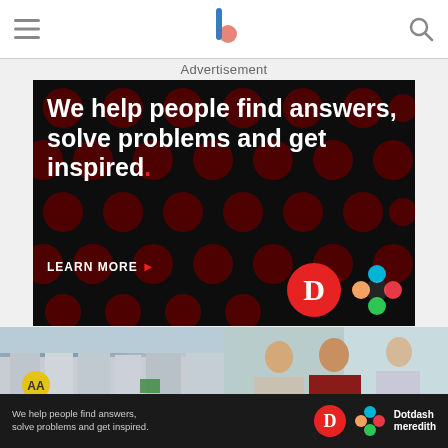[Figure (screenshot): Website header with hamburger menu icon on left, stylized 'b' logo in center, and search icon on right, on white background]
Advertisement
[Figure (illustration): Dark advertisement banner with red dot pattern background. White bold text reads: 'We help people find answers, solve problems and get inspired.' with a red period. 'LEARN MORE' with red arrow. Logos: red circle with white D (Dotdash) and colorful geometric flower shape (Meredith).]
[Figure (photo): Two side-by-side thumbnail images: left shows a UK residential street with estate agent boards; right shows two people in a business meeting/consultation.]
[Figure (illustration): Bottom dark banner with text 'We help people find answers, solve problems and get inspired.' and Dotdash Meredith logos on right.]